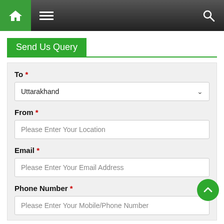Navigation bar with home, menu, and search icons
Send Us Query
To *
Uttarakhand (dropdown)
From *
Please Enter Your Location
Email *
Please Enter Your Email Address
Phone Number *
Please Enter Your Mobile/Phone Number